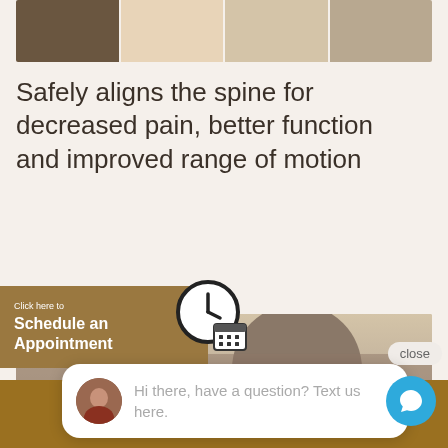[Figure (photo): Strip of four medical/chiropractic photos at top of page]
Safely aligns the spine for decreased pain, better function and improved range of motion
[Figure (photo): Photo of chiropractor treating a patient's neck/spine]
close
Hi there, have a question? Text us here.
Click here to
Schedule an Appointment
CALL US NOW